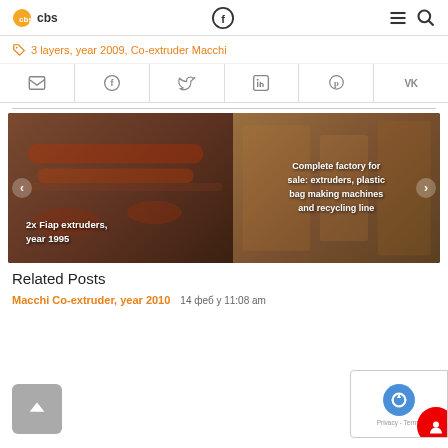CBS logo | Facebook icon | Menu icon | Search icon
3 layers, year 2009, Co-extruder Macchi
[Figure (infographic): Social share icon bar with email, Facebook, Twitter, LinkedIn, Pinterest, VK icons separated by vertical lines]
[Figure (photo): Slideshow banner with two panels: left shows '2x Fiap extruders, year 1995' over industrial machinery photo; right shows 'Complete factory for sale: extruders, plastic bag making machines and recycling line' over factory photo. Navigation arrows on left and right sides.]
Related Posts
Macchi Co-extruder, year 2010     14 феб у 11:08 am